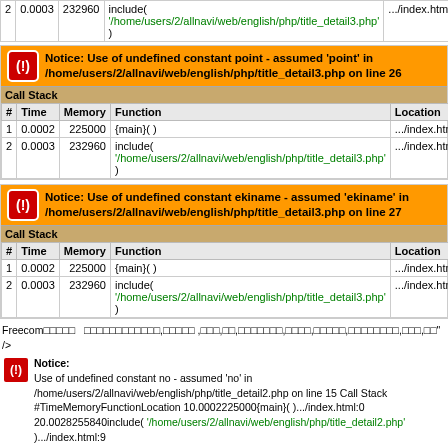| # | Time | Memory | Function | Location |
| --- | --- | --- | --- | --- |
| 2 | 0.0003 | 232960 | include( '/home/users/2/allnavi/web/english/php/title_detail3.php' ) | ../index.html:8 |
Notice: Use of undefined constant point - assumed 'point' in /home/users/2/allnavi/web/english/php/title_detail3.php on line 26
| # | Time | Memory | Function | Location |
| --- | --- | --- | --- | --- |
| 1 | 0.0002 | 225000 | {main}( ) | ../index.html:0 |
| 2 | 0.0003 | 232960 | include( '/home/users/2/allnavi/web/english/php/title_detail3.php' ) | ../index.html:8 |
Notice: Use of undefined constant ekiname - assumed 'ekiname' in /home/users/2/allnavi/web/english/php/title_detail3.php on line 27
| # | Time | Memory | Function | Location |
| --- | --- | --- | --- | --- |
| 1 | 0.0002 | 225000 | {main}( ) | ../index.html:0 |
| 2 | 0.0003 | 232960 | include( '/home/users/2/allnavi/web/english/php/title_detail3.php' ) | ../index.html:8 |
Freecom□□□□□ □□□□□□□□□□□□,□□□□□ ,□□□,□□,□□□□□□□,□□□□,□□□□□,□□□□□□□□,□□□,□□" /> Notice: Use of undefined constant no - assumed 'no' in /home/users/2/allnavi/web/english/php/title_detail2.php on line 15 Call Stack #TimeMemoryFunctionLocation 10.0002225000{main}( ).../index.html:0 20.0028255840include( '/home/users/2/allnavi/web/english/php/title_detail2.php' ).../index.html:9
Notice: Use of undefined constant shopname - assumed 'shopname' in /home/users/2/allnavi/web/english/php/title_detail2.php on line 16
| # | Time | Memory | Function | Location |
| --- | --- | --- | --- | --- |